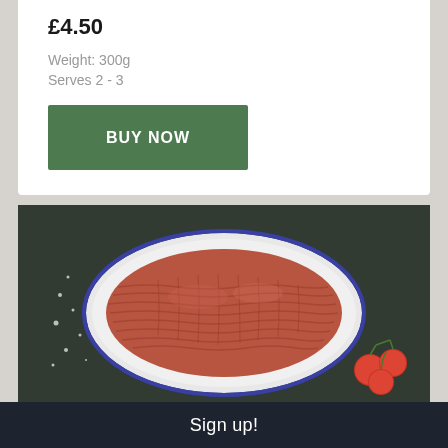£4.50
Weight: 300g
Serves 2 - 3
BUY NOW
[Figure (photo): Overhead view of raw minced/ground beef in a white enamel dish with blue rim, placed on a dark green-grey stone surface. Cherry tomatoes on the vine visible at the bottom right. Salt flakes scattered on the left side.]
Sign up!